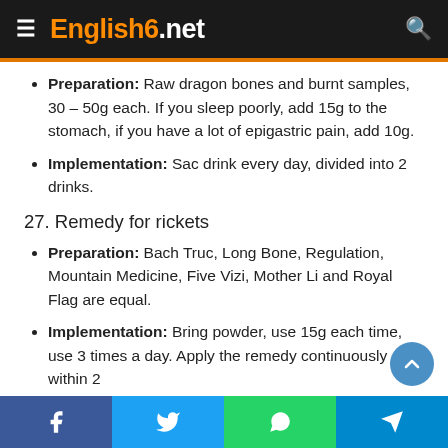English6.net
Preparation: Raw dragon bones and burnt samples, 30 – 50g each. If you sleep poorly, add 15g to the stomach, if you have a lot of epigastric pain, add 10g.
Implementation: Sac drink every day, divided into 2 drinks.
27. Remedy for rickets
Preparation: Bach Truc, Long Bone, Regulation, Mountain Medicine, Five Vizi, Mother Li and Royal Flag are equal.
Implementation: Bring powder, use 15g each time, use 3 times a day. Apply the remedy continuously within 2
Facebook Twitter WhatsApp Telegram